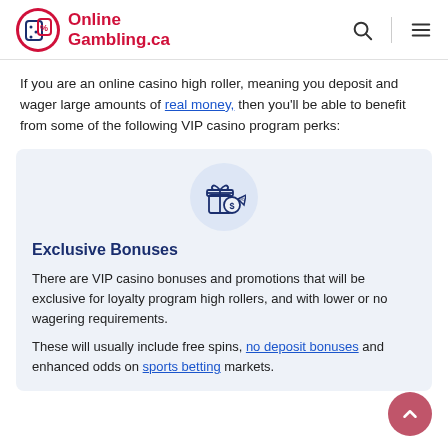OnlineGambling.ca
If you are an online casino high roller, meaning you deposit and wager large amounts of real money, then you'll be able to benefit from some of the following VIP casino program perks:
[Figure (illustration): Icon of a gift box with a dollar coin and percentage tags, representing exclusive bonuses]
Exclusive Bonuses
There are VIP casino bonuses and promotions that will be exclusive for loyalty program high rollers, and with lower or no wagering requirements.
These will usually include free spins, no deposit bonuses and enhanced odds on sports betting markets.